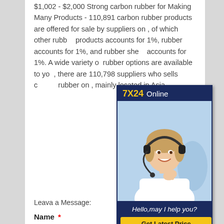$1,002 - $2,000 Strong carbon rubber for Making Many Products - 110,891 carbon rubber products are offered for sale by suppliers on , of which other rubber products accounts for 1%, rubber accounts for 1%, and rubber sheet accounts for 1%. A wide variety of rubber options are available to you, there are 110,798 suppliers who sells carbon rubber on , mainly located in Asia.
[Figure (infographic): 7X24 Online customer service chat widget with a photo of a smiling woman wearing a headset, a 'Hello, may I help you?' message, and a 'Get Latest Price' yellow button on a dark navy background.]
Leava a Message:
Name *
Email *